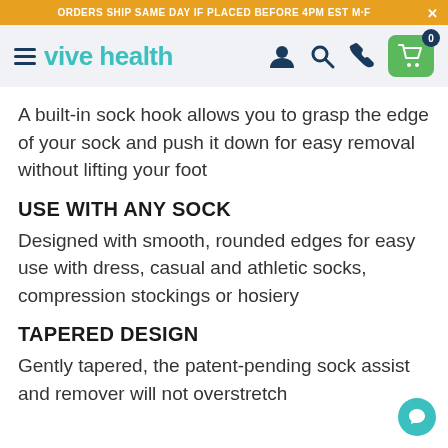ORDERS SHIP SAME DAY IF PLACED BEFORE 4PM EST M-F
[Figure (logo): Vive Health website header with hamburger menu, logo, user icon, search icon, phone icon, and green cart button with badge showing 0]
A built-in sock hook allows you to grasp the edge of your sock and push it down for easy removal without lifting your foot
USE WITH ANY SOCK
Designed with smooth, rounded edges for easy use with dress, casual and athletic socks, compression stockings or hosiery
TAPERED DESIGN
Gently tapered, the patent-pending sock assist and remover will not overstretch